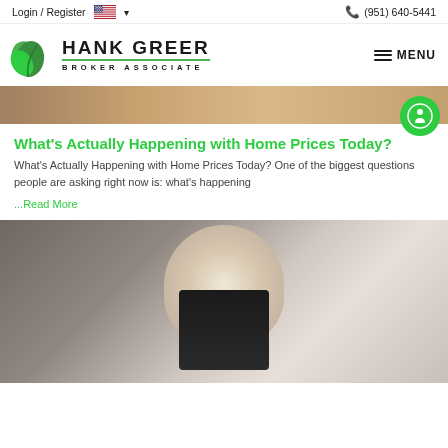Login / Register  🇺🇸 ▾   (951) 640-5441
[Figure (logo): Hank Greer Broker Associate logo with green leaf icon]
MENU
[Figure (photo): Partial image of a gold/brown object, hero banner strip]
What's Actually Happening with Home Prices Today?
What's Actually Happening with Home Prices Today? One of the biggest questions people are asking right now is: what's happening
...Read More
[Figure (photo): Photo of a smiling woman in a black blazer, likely a real estate agent, holding a small object]